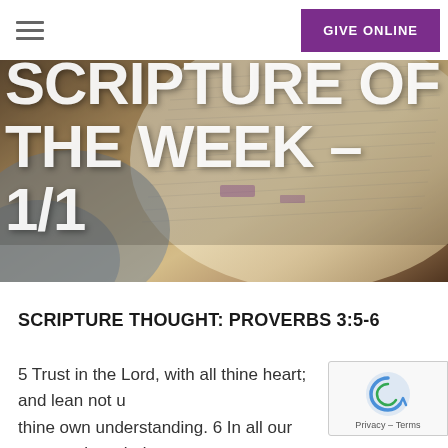[Figure (screenshot): Church website header with hamburger menu icon on the left and purple 'GIVE ONLINE' button on the right]
[Figure (photo): Hero banner image showing an open Bible with handwritten annotations, with large white text overlay reading 'SCRIPTURE OF THE WEEK – 1/1']
SCRIPTURE OF THE WEEK – 1/1
SCRIPTURE THOUGHT: PROVERBS 3:5-6
5 Trust in the Lord, with all thine heart; and lean not u… thine own understanding. 6 In all our ways, acknowledg…